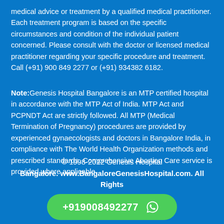medical advice or treatment by a qualified medical practitioner. Each treatment program is based on the specific circumstances and condition of the individual patient concerned. Please consult with the doctor or licensed medical practitioner regarding your specific procedure and treatment. Call (+91) 900 849 2277 or (+91) 934382 6182.
Note: Genesis Hospital Bangalore is an MTP certified hospital in accordance with the MTP Act of India. MTP Act and PCPNDT Act are strictly followed. All MTP (Medical Termination of Pregnancy) procedures are provided by experienced gynaecologists and doctors in Bangalore India, in compliance with The World Health Organization methods and prescribed standards. Comprehensive Abortion Care service is provided where applicable.
© 1998-2022 Genesis Hospital Bangalore. www.BangaloreGenesisHospital.com. All Rights
+919008492277